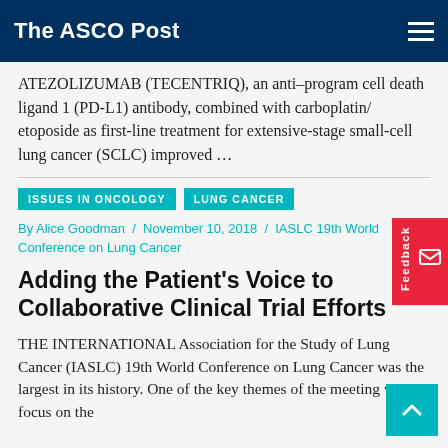The ASCO Post
ATEZOLIZUMAB (TECENTRIQ), an anti–program cell death ligand 1 (PD-L1) antibody, combined with carboplatin/ etoposide as first-line treatment for extensive-stage small-cell lung cancer (SCLC) improved ...
ISSUES IN ONCOLOGY
LUNG CANCER
By Alice Goodman / November 10, 2018 / IASLC 19th World Conference on Lung Cancer
Adding the Patient's Voice to Collaborative Clinical Trial Efforts
THE INTERNATIONAL Association for the Study of Lung Cancer (IASLC) 19th World Conference on Lung Cancer was the largest in its history. One of the key themes of the meeting was to focus on the